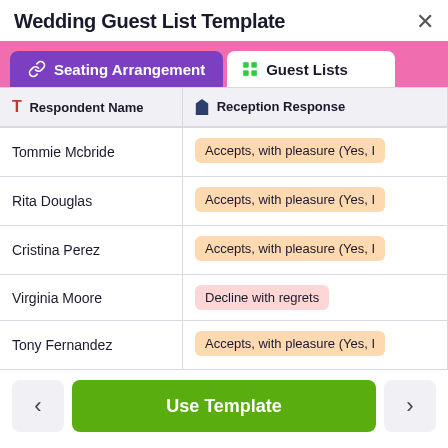Wedding Guest List Template
[Figure (screenshot): A wedding guest list template UI showing two tabs (Seating Arrangement and Guest Lists), a table with columns Respondent Name and Reception Response, and rows with names and RSVP statuses.]
| Respondent Name | Reception Response |  |
| --- | --- | --- |
| Tommie Mcbride | Accepts, with pleasure (Yes, I | Bla |
| Rita Douglas | Accepts, with pleasure (Yes, I | Wil |
| Cristina Perez | Accepts, with pleasure (Yes, I | Lily |
| Virginia Moore | Decline with regrets | Lily |
| Tony Fernandez | Accepts, with pleasure (Yes, I | Jen |
Use Template
Shared by Jotform in List Templates